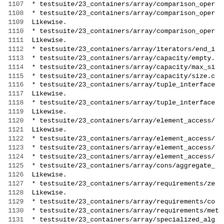Code listing lines 1107–1138 showing testsuite/23_containers/array test file paths and 'Likewise.' annotations